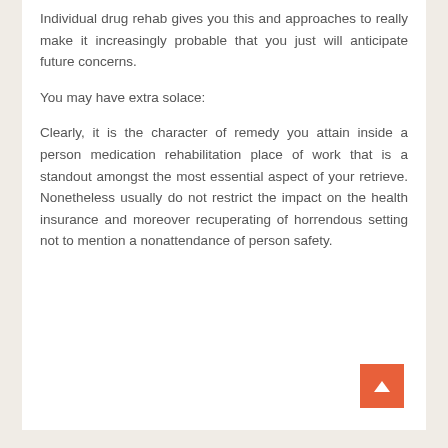Individual drug rehab gives you this and approaches to really make it increasingly probable that you just will anticipate future concerns.
You may have extra solace:
Clearly, it is the character of remedy you attain inside a person medication rehabilitation place of work that is a standout amongst the most essential aspect of your retrieve. Nonetheless usually do not restrict the impact on the health insurance and moreover recuperating of horrendous setting not to mention a nonattendance of person safety.